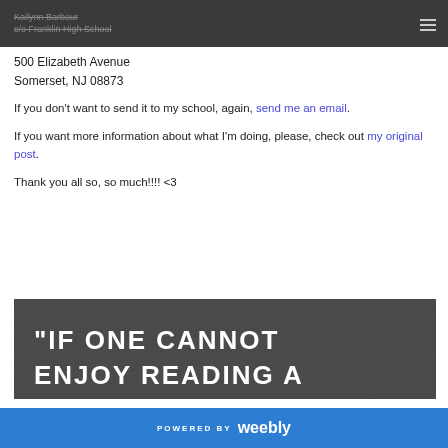Kailynn Barbour c/o Franklin High School
500 Elizabeth Avenue
Somerset, NJ 08873
If you don't want to send it to my school, again, send me an email.
If you want more information about what I'm doing, please, check out my original post.
Thank you all so, so much!!!! <3
[Figure (photo): Dark wood-textured background with large white bold text reading: "IF ONE CANNOT ENJOY READING A (cut off)"]
POWERED BY weebly